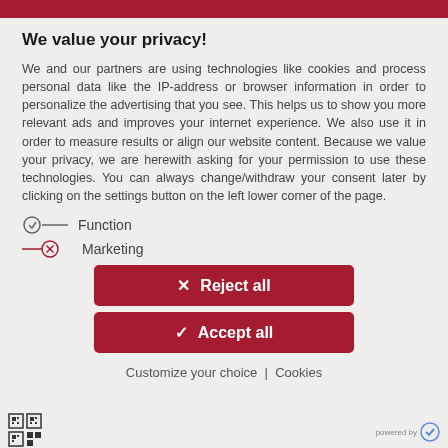We value your privacy!
We and our partners are using technologies like cookies and process personal data like the IP-address or browser information in order to personalize the advertising that you see. This helps us to show you more relevant ads and improves your internet experience. We also use it in order to measure results or align our website content. Because we value your privacy, we are herewith asking for your permission to use these technologies. You can always change/withdraw your consent later by clicking on the settings button on the left lower corner of the page.
Function
Marketing
Reject all
Accept all
Customize your choice | Cookies